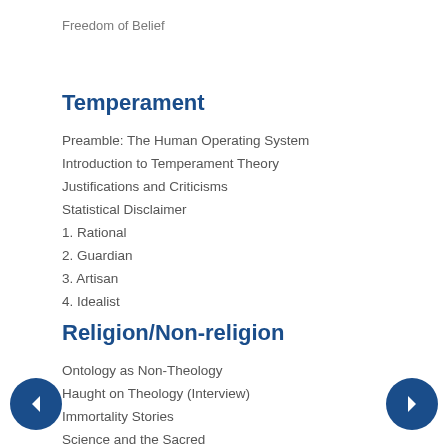Freedom of Belief
Temperament
Preamble: The Human Operating System
Introduction to Temperament Theory
Justifications and Criticisms
Statistical Disclaimer
1. Rational
2. Guardian
3. Artisan
4. Idealist
Religion/Non-religion
Ontology as Non-Theology
Haught on Theology (Interview)
Immortality Stories
Science and the Sacred